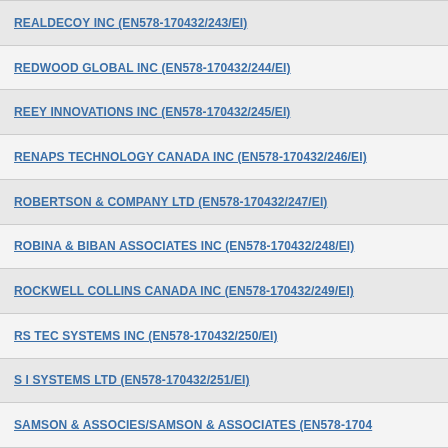REALDECOY INC (EN578-170432/243/EI)
REDWOOD GLOBAL INC (EN578-170432/244/EI)
REEY INNOVATIONS INC (EN578-170432/245/EI)
RENAPS TECHNOLOGY CANADA INC (EN578-170432/246/EI)
ROBERTSON & COMPANY LTD (EN578-170432/247/EI)
ROBINA & BIBAN ASSOCIATES INC (EN578-170432/248/EI)
ROCKWELL COLLINS CANADA INC (EN578-170432/249/EI)
RS TEC SYSTEMS INC (EN578-170432/250/EI)
S I SYSTEMS LTD (EN578-170432/251/EI)
SAMSON & ASSOCIES/SAMSON & ASSOCIATES (EN578-1704...